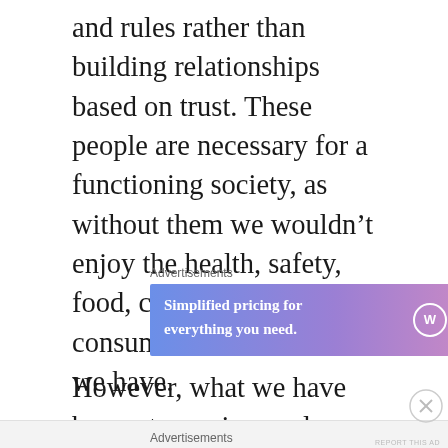and rules rather than building relationships based on trust. These people are necessary for a functioning society, as without them we wouldn't enjoy the health, safety, food, construction and consumer standards that we have.
[Figure (other): WordPress.com advertisement banner: 'Simplified pricing for everything you need.' with WordPress.com logo on a blue-to-pink gradient background.]
However, what we have begun to see is people , not just politicians, who like rule making a little bit too much.
Advertisements
Advertisements